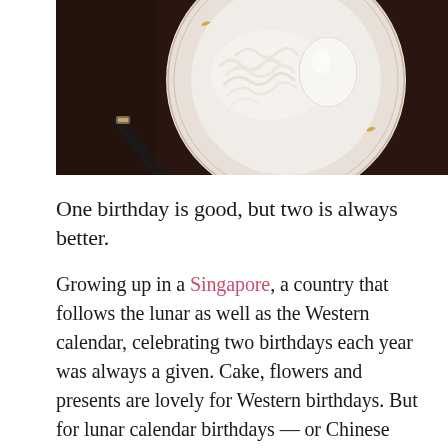[Figure (photo): Overhead photo of a white decorative bowl with gold rim pattern containing noodles and a white boiled egg, with black chopsticks resting beside it, on a dark brown surface.]
One birthday is good, but two is always better.
Growing up in a Singapore, a country that follows the lunar as well as the Western calendar, celebrating two birthdays each year was always a given. Cake, flowers and presents are lovely for Western birthdays. But for lunar calendar birthdays — or Chinese birthdays, as my family calls them — things are several notches simpler. The star of this show is always a bowl of noodles, symbolic of longevity, a pair